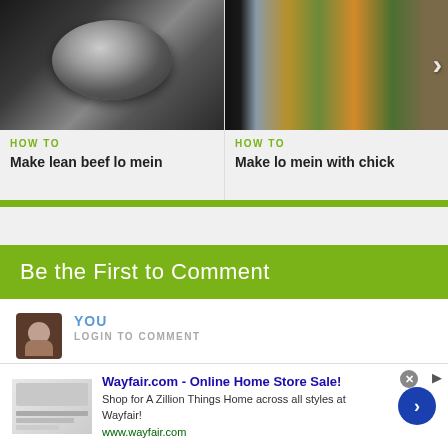[Figure (photo): Cooking pan/bowl on dark stovetop surface]
HOW TO
Make lean beef lo mein
[Figure (photo): Stir fry dish with vegetables, partially cut off, with right-arrow navigation button]
HOW TO
Make lo mein with chick
Be the First to Comment
YOU
LOGIN TO COMMENT
Click to share your thoughts
Wayfair.com - Online Home Store Sale!
Shop for A Zillion Things Home across all styles at Wayfair!
www.wayfair.com